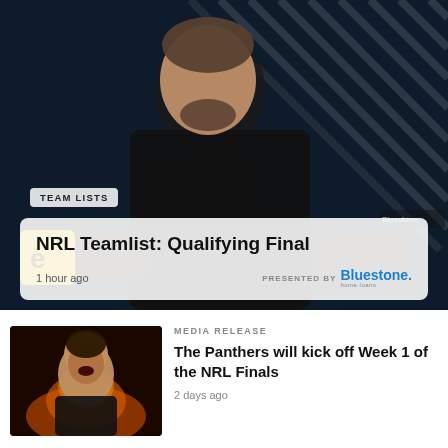[Figure (photo): Hero image of an NRL rugby league player in black jersey with tattoos, against dark diagonal stripe background. A card overlay shows team lists article.]
TEAM LISTS
NRL Teamlist: Qualifying Final
1 hour ago
PRESENTED BY Bluestone. home loans
[Figure (photo): Thumbnail of NRL player with fire/energy effects, dramatic pose with mouth open, for Panthers NRL Finals article.]
MEDIA RELEASE
The Panthers will kick off Week 1 of the NRL Finals
2 days ago